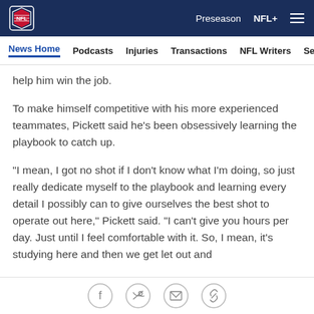NFL | Preseason | NFL+
News Home | Podcasts | Injuries | Transactions | NFL Writers | Se
help him win the job.
To make himself competitive with his more experienced teammates, Pickett said he's been obsessively learning the playbook to catch up.
"I mean, I got no shot if I don't know what I'm doing, so just really dedicate myself to the playbook and learning every detail I possibly can to give ourselves the best shot to operate out here," Pickett said. "I can't give you hours per day. Just until I feel comfortable with it. So, I mean, it's studying here and then we get let out and